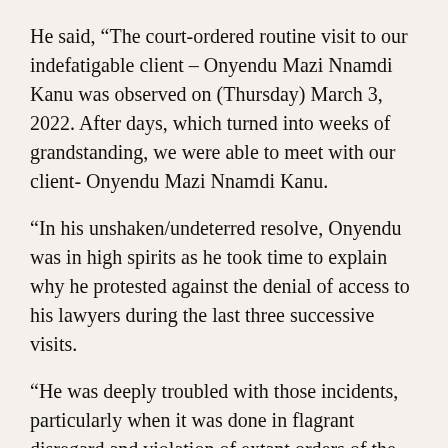He said, “The court-ordered routine visit to our indefatigable client – Onyendu Mazi Nnamdi Kanu was observed on (Thursday) March 3, 2022. After days, which turned into weeks of grandstanding, we were able to meet with our client- Onyendu Mazi Nnamdi Kanu.
“In his unshaken/undeterred resolve, Onyendu was in high spirits as he took time to explain why he protested against the denial of access to his lawyers during the last three successive visits.
“He was deeply troubled with those incidents, particularly when it was done in flagrant disregard and violation of extant orders of the court. We understood Onyendu’s grouse and seized the opportunity to intimate him of the measures we have taken so far to ensure that such ugly incident does not reoccur.